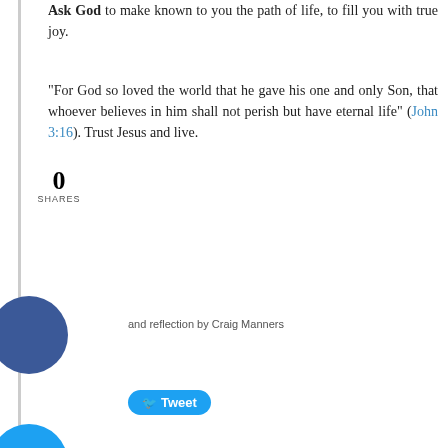Ask God to make known to you the path of life, to fill you with true joy.
"For God so loved the world that he gave his one and only Son, that whoever believes in him shall not perish but have eternal life" (John 3:16). Trust Jesus and live.
0 SHARES
and reflection by Craig Manners
Tweet
mments
comment will be posted after it is approved.
Leave a Reply.
he (required)
Email (not published)